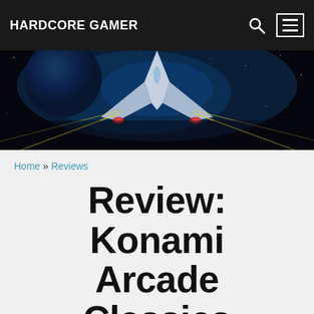HARDCORE GAMER
[Figure (illustration): A stylized retro sci-fi space shooter artwork showing a spacecraft flying through a starry space scene with laser beams, rendered in deep blue and purple tones.]
Home » Reviews
Review: Konami Arcade Classics Anniversary Collection